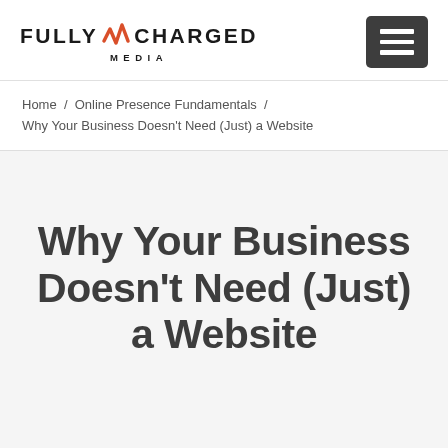[Figure (logo): Fully Charged Media logo with lightning bolt graphic in orange/red between FULLY and CHARGED text, with MEDIA below in spaced caps]
Home / Online Presence Fundamentals / Why Your Business Doesn't Need (Just) a Website
Why Your Business Doesn't Need (Just) a Website